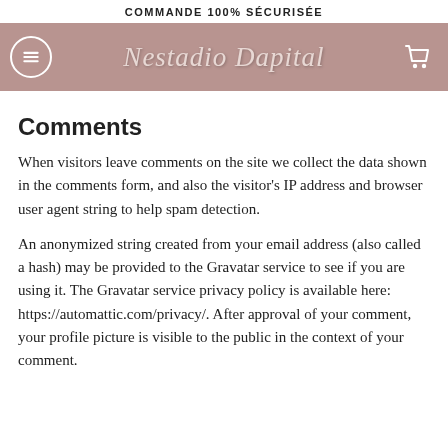COMMANDE 100% SÉCURISÉE
[Figure (screenshot): Navigation bar with hamburger menu icon on the left, brand logo 'Nestadio Dapital' in the center on a mauve/rose background, and cart icon on the right]
Comments
When visitors leave comments on the site we collect the data shown in the comments form, and also the visitor's IP address and browser user agent string to help spam detection.
An anonymized string created from your email address (also called a hash) may be provided to the Gravatar service to see if you are using it. The Gravatar service privacy policy is available here: https://automattic.com/privacy/. After approval of your comment, your profile picture is visible to the public in the context of your comment.